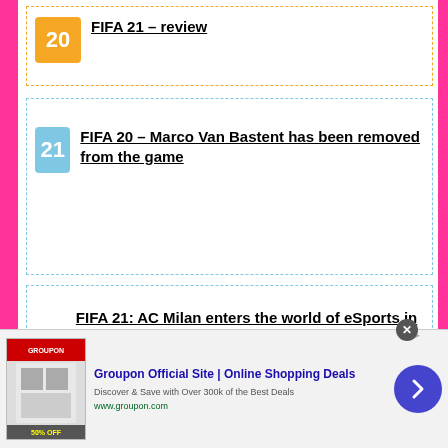20 FIFA 21 – review
21 FIFA 20 – Marco Van Bastent has been removed from the game
22 FIFA 21: AC Milan enters the world of eSports in partnership with QLASH
FIFA 21 has a virtually
[Figure (screenshot): Groupon advertisement banner at bottom of page with logo, headline 'Groupon Official Site | Online Shopping Deals', subtext 'Discover & Save with Over 300k of the Best Deals', URL www.groupon.com, and a blue arrow button]